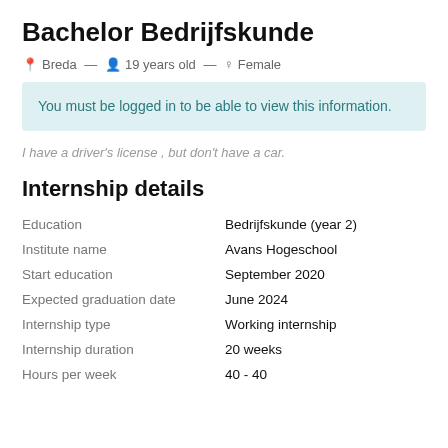Bachelor Bedrijfskunde
Breda — 19 years old — Female
You must be logged in to be able to view this information.
I have a driver's license , but don't have a car.
Internship details
| Field | Value |
| --- | --- |
| Education | Bedrijfskunde (year 2) |
| Institute name | Avans Hogeschool |
| Start education | September 2020 |
| Expected graduation date | June 2024 |
| Internship type | Working internship |
| Internship duration | 20 weeks |
| Hours per week | 40 - 40 |